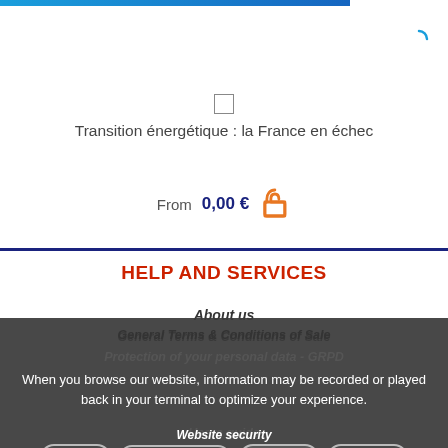Transition énergétique : la France en échec
From 0,00 €
HELP AND SERVICES
About us
General Terms & Conditions of Sale
Protection of your personal data - GRPD
When you browse our website, information may be recorded or played back in your terminal to optimize your experience.
Users guide
Settings  Author information  Accept all  Refuse all
Website security